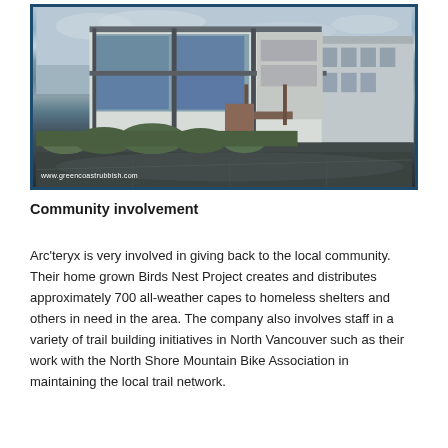[Figure (photo): Exterior photo of a modern commercial building with large glass windows, concrete facade, and landscaping in the foreground. Wet pavement visible. Watermark 'www.greencoastrubbish.com' in bottom-left corner.]
Community involvement
Arc'teryx is very involved in giving back to the local community. Their home grown Birds Nest Project creates and distributes approximately 700 all-weather capes to homeless shelters and others in need in the area. The company also involves staff in a variety of trail building initiatives in North Vancouver such as their work with the North Shore Mountain Bike Association in maintaining the local trail network.